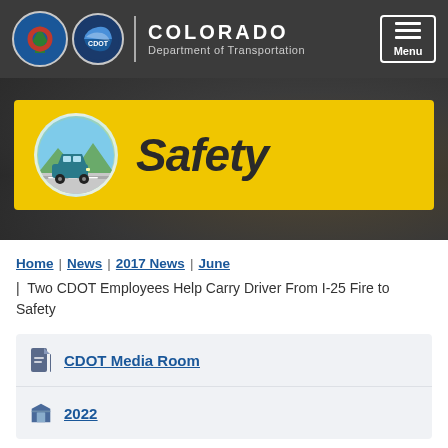COLORADO Department of Transportation | Menu
[Figure (infographic): Safety banner with yellow background, car icon in circular badge, and bold italic 'Safety' text]
Home | News | 2017 News | June | Two CDOT Employees Help Carry Driver From I-25 Fire to Safety
CDOT Media Room
2022